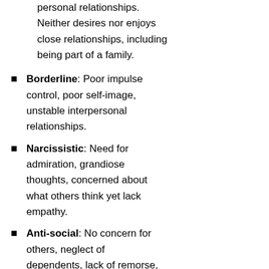personal relationships. Neither desires nor enjoys close relationships, including being part of a family.
Borderline: Poor impulse control, poor self-image, unstable interpersonal relationships.
Narcissistic: Need for admiration, grandiose thoughts, concerned about what others think yet lack empathy.
Anti-social: No concern for others, neglect of dependents, lack of remorse, morals or empathy.